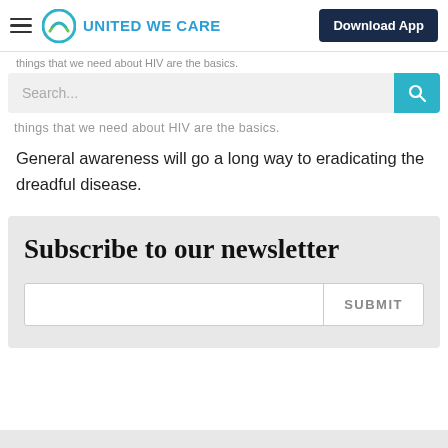UNITED WE CARE | Download App
things that we need about HIV are the basics.
General awareness will go a long way to eradicating the dreadful disease.
Subscribe to our newsletter